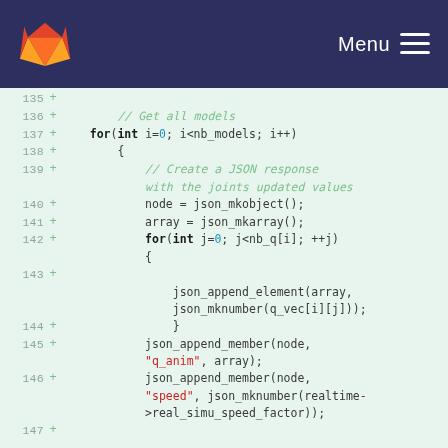GitLab — Menu
[Figure (screenshot): GitLab code diff view showing lines 135–147 of a source file with added lines (marked with +) containing C++ code for JSON model serialization.]